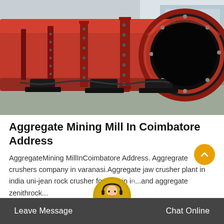[Figure (photo): Large red rotary mill / drum industrial equipment photographed outdoors, showing cylindrical red painted drum with flanges and bolts, extending into the background perspective, on a concrete surface with industrial buildings in background.]
Aggregate Mining Mill In Coimbatore Address
AggregateMining MillInCoimbatore Address. Aggregrate crushers company in varanasi.Aggregate jaw crusher plant in india uni-jean rock crusher for sale in i...and aggregate zenithrock...
Leave Message   Chat Online